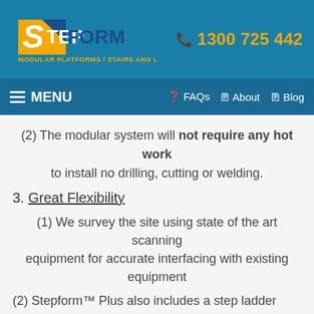StepForm — MODULAR PLATFORMS / STAIRS AND LADDERS | ☎ 1300 725 442
≡ MENU  ❓ FAQs  🗎 About  🗎 Blog
(2) The modular system will not require any hot work to install no drilling, cutting or welding.
3. Great Flexibility
(1) We survey the site using state of the art scanning equipment for accurate interfacing with existing equipment
(2) Stepform™ Plus also includes a step ladder range